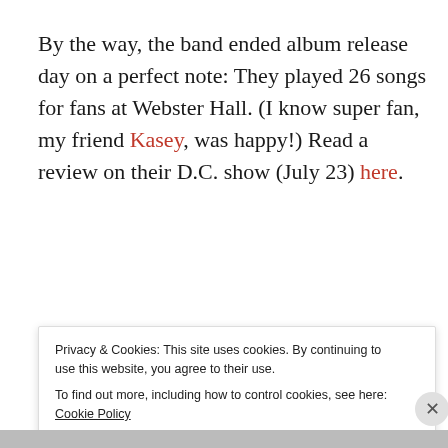By the way, the band ended album release day on a perfect note: They played 26 songs for fans at Webster Hall. (I know super fan, my friend Kasey, was happy!) Read a review on their D.C. show (July 23) here.
Search ...
Privacy & Cookies: This site uses cookies. By continuing to use this website, you agree to their use.
To find out more, including how to control cookies, see here: Cookie Policy
Close and accept